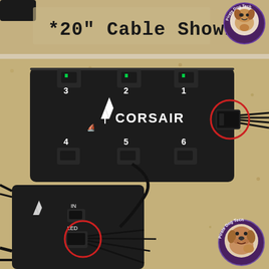[Figure (photo): Top strip showing cable and Corsair fan hub connector with text '*20" Cable Shown' and Pirate Dog Tech logo in top right]
[Figure (photo): Main photo showing a black Corsair fan hub with 6 fan connectors labeled 1-6 and CORSAIR logo, with a circled connector on the right side. Below it is another Corsair device showing IN and LED labeled connectors with a circled LED connector. Pirate Dog Tech bulldog logo in bottom right corner.]